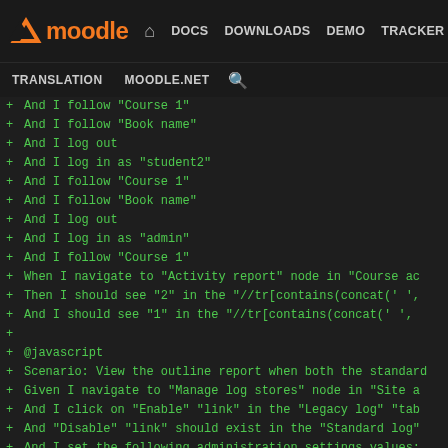[Figure (screenshot): Moodle developer site navigation bar with logo, DOCS, DOWNLOADS, DEMO, TRACKER, DEV links, and TRANSLATION, MOODLE.NET, search links below]
+ And I follow "Course 1"
+ And I follow "Book name"
+ And I log out
+ And I log in as "student2"
+ And I follow "Course 1"
+ And I follow "Book name"
+ And I log out
+ And I log in as "admin"
+ And I follow "Course 1"
+ When I navigate to "Activity report" node in "Course ac
+ Then I should see "2" in the "//tr[contains(concat(' ',
+ And I should see "1" in the "//tr[contains(concat(' ',
+
+ @javascript
+ Scenario: View the outline report when both the standard
+ Given I navigate to "Manage log stores" node in "Site a
+ And I click on "Enable" "link" in the "Legacy log" "tab
+ And "Disable" "link" should exist in the "Standard log"
+ And I set the following administration settings values:
+ | Log legacy data | 1 |
+ And I log out
+ And I log in as "student1"
+ And I follow "Course 1"
+ And I follow "Forum name"
+ And I follow "Course 1"
+ And I follow "Book name"
+ And I log out